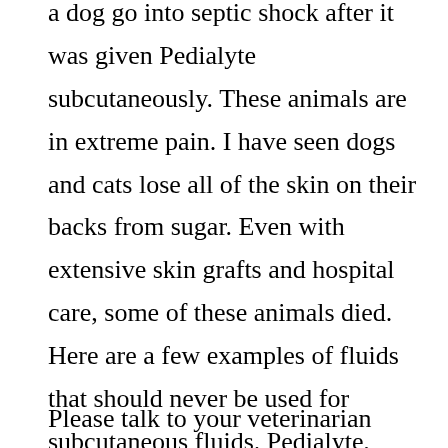a dog go into septic shock after it was given Pedialyte subcutaneously. These animals are in extreme pain. I have seen dogs and cats lose all of the skin on their backs from sugar. Even with extensive skin grafts and hospital care, some of these animals died. Here are a few examples of fluids that should never be used for subcutaneous fluids. Pedialyte, D5W, Gatorade and mannitol.
Please talk to your veterinarian before giving